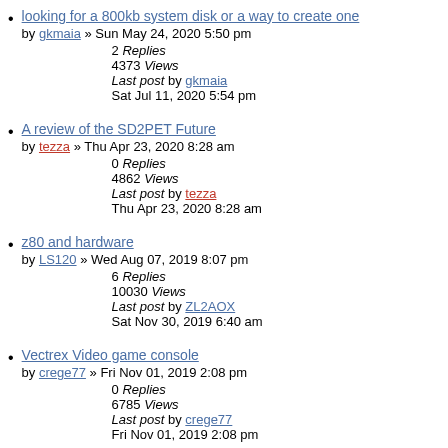looking for a 800kb system disk or a way to create one
by gkmaia » Sun May 24, 2020 5:50 pm
2 Replies
4373 Views
Last post by gkmaia
Sat Jul 11, 2020 5:54 pm
A review of the SD2PET Future
by tezza » Thu Apr 23, 2020 8:28 am
0 Replies
4862 Views
Last post by tezza
Thu Apr 23, 2020 8:28 am
z80 and hardware
by LS120 » Wed Aug 07, 2019 8:07 pm
6 Replies
10030 Views
Last post by ZL2AOX
Sat Nov 30, 2019 6:40 am
Vectrex Video game console
by crege77 » Fri Nov 01, 2019 2:08 pm
0 Replies
6785 Views
Last post by crege77
Fri Nov 01, 2019 2:08 pm
System 80 site updates
by ...